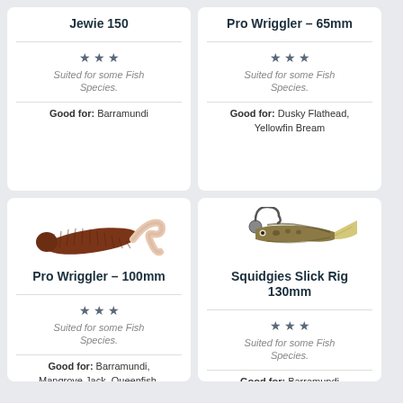Jewie 150
★★★ Suited for some Fish Species.
Good for: Barramundi
Pro Wriggler – 65mm
★★★ Suited for some Fish Species.
Good for: Dusky Flathead, Yellowfin Bream
[Figure (illustration): Brown curly-tailed soft plastic fishing lure (Pro Wriggler 100mm)]
Pro Wriggler – 100mm
★★★ Suited for some Fish Species.
Good for: Barramundi, Mangrove Jack, Queenfish, Trevally
[Figure (illustration): Small natural-colored paddle-tail soft plastic fishing lure rigged on jig head with hook (Squidgies Slick Rig 130mm)]
Squidgies Slick Rig 130mm
★★★ Suited for some Fish Species.
Good for: Barramundi